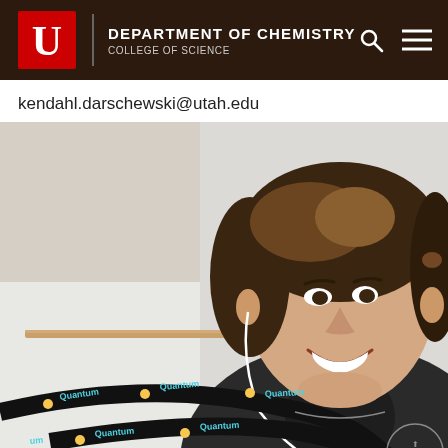DEPARTMENT OF CHEMISTRY COLLEGE OF SCIENCE
kendahl.darschewski@utah.edu
[Figure (photo): Selfie of a smiling young person with medium-length brown hair and white earbuds, wearing a black jacket and a black lanyard with 'Quantum' printed on it in teal text with emoji faces. Background shows a bright indoor setting.]